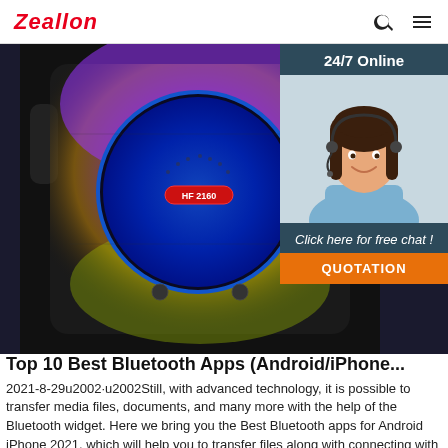Zeallon
[Figure (photo): A Bluetooth speaker (model HF 2160) with colorful LED lighting - purple, blue, yellow/green, with a circular blue woofer in the center. Black body with handles. Shown from slightly above front angle.]
[Figure (photo): 24/7 Online chat widget with a smiling woman wearing a headset. Button reads 'Click here for free chat!' and 'QUOTATION'.]
Top 10 Best Bluetooth Apps (Android/iPhone...
2021-8-29u2002·u2002Still, with advanced technology, it is possible to transfer media files, documents, and many more with the help of the Bluetooth widget. Here we bring you the Best Bluetooth apps for Android iPhone 2021, which will help you to transfer files along with connecting with Bluetooth devices like headphones etc.